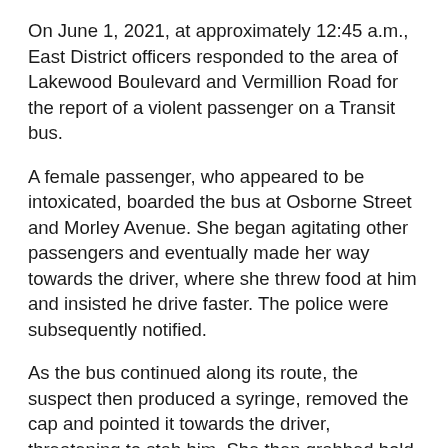On June 1, 2021, at approximately 12:45 a.m., East District officers responded to the area of Lakewood Boulevard and Vermillion Road for the report of a violent passenger on a Transit bus.
A female passenger, who appeared to be intoxicated, boarded the bus at Osborne Street and Morley Avenue. She began agitating other passengers and eventually made her way towards the driver, where she threw food at him and insisted he drive faster. The police were subsequently notified.
As the bus continued along its route, the suspect then produced a syringe, removed the cap and pointed it towards the driver, threatening to stab him. She then grabbed hold of the steering wheel, causing the bus to swerve back and forth on the roadway endangering